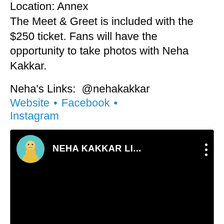Location: Annex
The Meet & Greet is included with the $250 ticket. Fans will have the opportunity to take photos with Neha Kakkar.
Neha's Links:  @nehakakkar
Website • Facebook • Instagram
[Figure (screenshot): YouTube video thumbnail showing Neha Kakkar with avatar image and title 'NEHA KAKKAR LI...' on black background]
EVENT ORGANIZERS
[Figure (other): Directions & Parking Map for Copernicus Center showing blue parking sign]